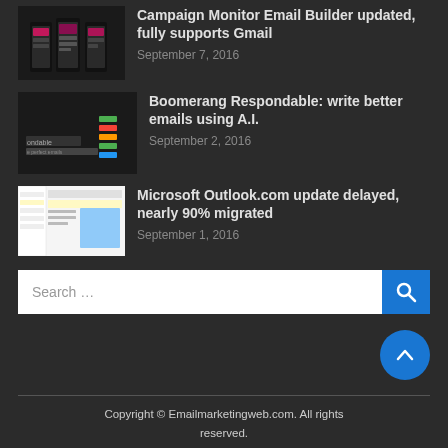Campaign Monitor Email Builder updated, fully supports Gmail — September 7, 2016
Boomerang Respondable: write better emails using A.I. — September 2, 2016
Microsoft Outlook.com update delayed, nearly 90% migrated — September 1, 2016
Search ...
Copyright © Emailmarketingweb.com. All rights reserved.